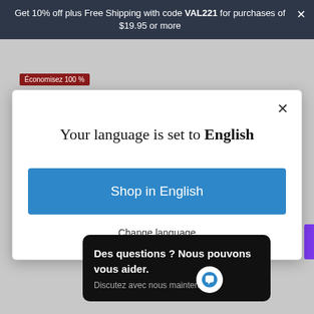Get 10% off plus Free Shipping with code VAL221 for purchases of $19.95 or more
Économisez 100 %
Your language is set to English
Shop in English
Change language
Des questions ? Nous pouvons vous aider. Discutez avec nous maintenant.